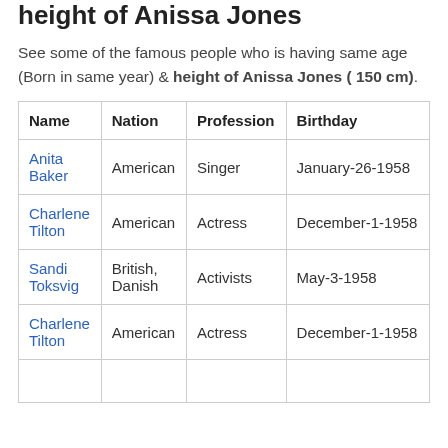height of Anissa Jones
See some of the famous people who is having same age (Born in same year) & height of Anissa Jones ( 150 cm).
| Name | Nation | Profession | Birthday |
| --- | --- | --- | --- |
| Anita Baker | American | Singer | January-26-1958 |
| Charlene Tilton | American | Actress | December-1-1958 |
| Sandi Toksvig | British, Danish | Activists | May-3-1958 |
| Charlene Tilton | American | Actress | December-1-1958 |
|  |  |  |  |